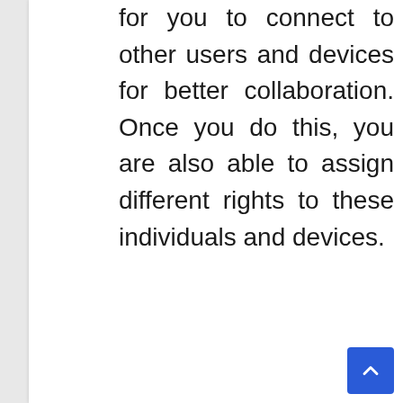for you to connect to other users and devices for better collaboration. Once you do this, you are also able to assign different rights to these individuals and devices.